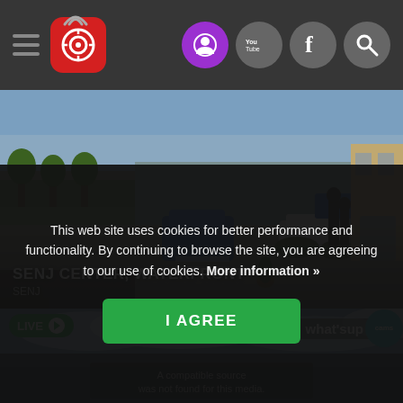Navigation bar with hamburger menu, camera app logo, and icons (user, YouTube, Facebook, Search)
[Figure (screenshot): CCTV camera view of Senj Center waterfront showing parked cars, a road, trees, and a bronze statue near a building]
SENJ CENTER, WATERFRONT
SENJ
[Figure (screenshot): Second live camera feed showing cloudy sky, with LIVE badge and whatsup.cams watermark]
This web site uses cookies for better performance and functionality. By continuing to browse the site, you are agreeing to our use of cookies. More information »
I AGREE